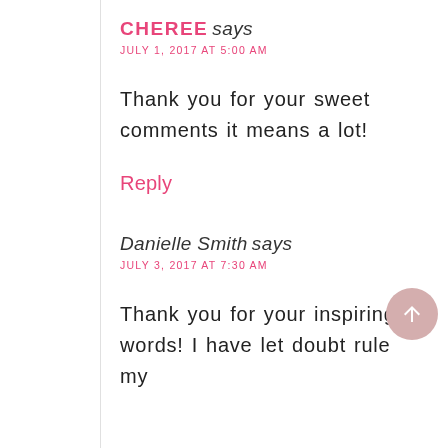CHEREE says
JULY 1, 2017 AT 5:00 AM
Thank you for your sweet comments it means a lot!
Reply
Danielle Smith says
JULY 3, 2017 AT 7:30 AM
Thank you for your inspiring words! I have let doubt rule my